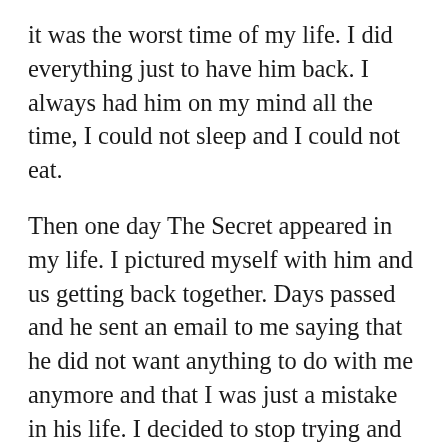it was the worst time of my life. I did everything just to have him back. I always had him on my mind all the time, I could not sleep and I could not eat.
Then one day The Secret appeared in my life. I pictured myself with him and us getting back together. Days passed and he sent an email to me saying that he did not want anything to do with me anymore and that I was just a mistake in his life. I decided to stop trying and to give up on everything and just let it be. I did everything that I could to make myself forget about him. I started to be happier and I found that I had lost myself to please someone else.